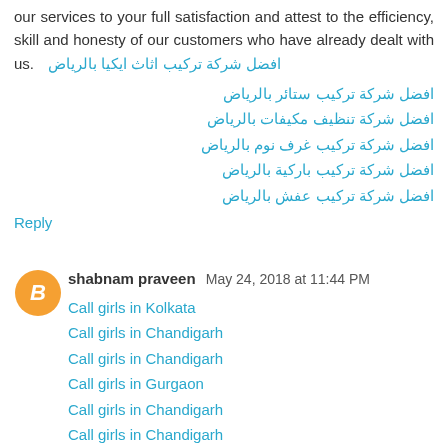our services to your full satisfaction and attest to the efficiency, skill and honesty of our customers who have already dealt with us.افضل شركة تركيب اثاث ايكيا بالرياض
افضل شركة تركيب ستائر بالرياض
افضل شركة تنظيف مكيفات بالرياض
افضل شركة تركيب غرف نوم بالرياض
افضل شركة تركيب باركية بالرياض
افضل شركة تركيب عفش بالرياض
Reply
shabnam praveen May 24, 2018 at 11:44 PM
Call girls in Kolkata
Call girls in Chandigarh
Call girls in Chandigarh
Call girls in Gurgaon
Call girls in Chandigarh
Call girls in Chandigarh
Reply